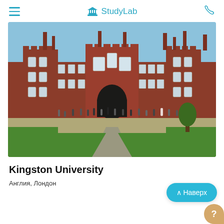StudyLab
[Figure (photo): Exterior photo of a historic red-brick university building (Hampton Court Palace style) with green lawn and pathway leading to entrance, visitors in foreground, blue sky background]
Kingston University
Англия, Лондон